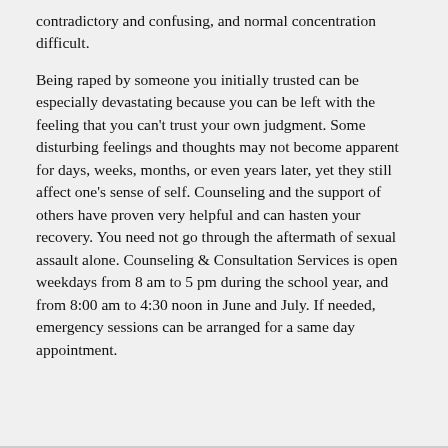contradictory and confusing, and normal concentration difficult.
Being raped by someone you initially trusted can be especially devastating because you can be left with the feeling that you can't trust your own judgment. Some disturbing feelings and thoughts may not become apparent for days, weeks, months, or even years later, yet they still affect one's sense of self. Counseling and the support of others have proven very helpful and can hasten your recovery. You need not go through the aftermath of sexual assault alone. Counseling & Consultation Services is open weekdays from 8 am to 5 pm during the school year, and from 8:00 am to 4:30 noon in June and July. If needed, emergency sessions can be arranged for a same day appointment.